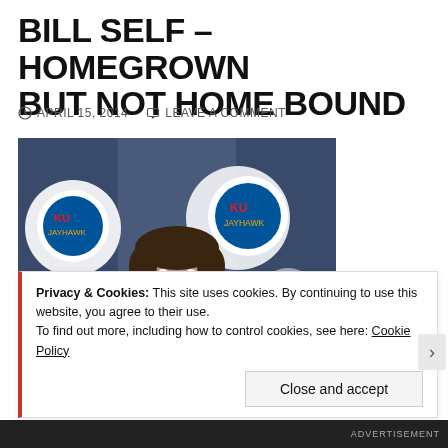BILL SELF – HOMEGROWN BUT NOT HOME BOUND
APRIL 15, 2014   LEAVE A COMMENT
[Figure (photo): Man in dark suit with red tie at a press conference with Kansas Jayhawks branding in the background]
Privacy & Cookies: This site uses cookies. By continuing to use this website, you agree to their use.
To find out more, including how to control cookies, see here: Cookie Policy
Close and accept